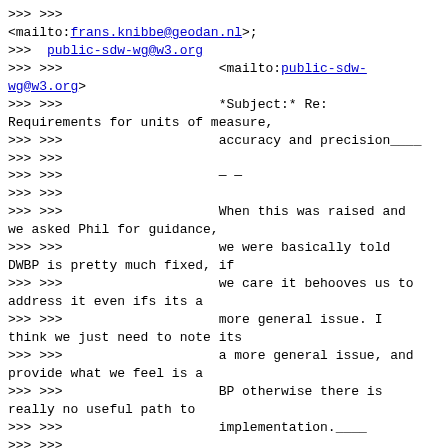>>> >>>
<mailto:frans.knibbe@geodan.nl>;
>>> public-sdw-wg@w3.org
>>> >>>                    <mailto:public-sdw-wg@w3.org>
>>> >>>                    *Subject:* Re: Requirements for units of measure,
>>> >>>                    accuracy and precision____
>>> >>>
>>> >>>                    — —
>>> >>>
>>> >>>                    When this was raised and we asked Phil for guidance,
>>> >>>                    we were basically told DWBP is pretty much fixed, if
>>> >>>                    we care it behooves us to address it even ifs its a
>>> >>>                    more general issue. I think we just need to note its
>>> >>>                    a more general issue, and provide what we feel is a
>>> >>>                    BP otherwise there is really no useful path to
>>> >>>                    implementation.____
>>> >>>
>>> >>>                    — —
>>> >>>
>>> >>>                    Given precision is a first class concern of spatial